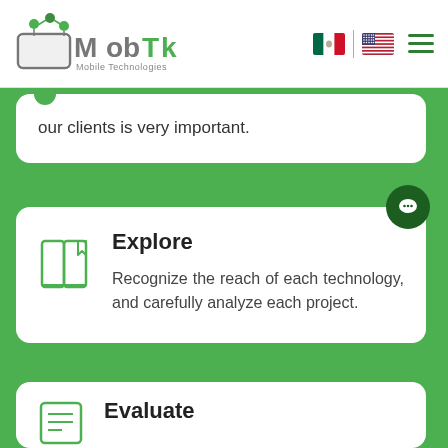[Figure (logo): MobTk Mobile Technologies logo with green circuit-board icon and stylized text]
[Figure (illustration): Mexican flag icon]
[Figure (illustration): US flag icon]
our clients is very important.
Explore
Recognize the reach of each technology, and carefully analyze each project.
Evaluate